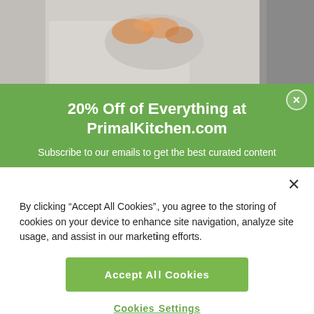[Figure (photo): Person holding orange/golden shrimp or seafood, wearing white clothing, blurred background]
20% Off of Everything at PrimalKitchen.com
Subscribe to our emails to get the best curated content
By clicking “Accept All Cookies”, you agree to the storing of cookies on your device to enhance site navigation, analyze site usage, and assist in our marketing efforts.
Accept All Cookies
Cookies Settings